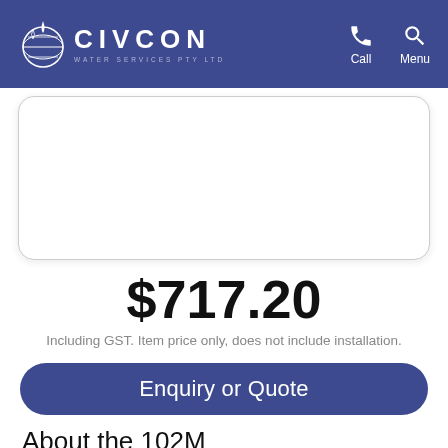CIVCON WATER SERVICES PTY LTD — Call / Menu
[Figure (other): White rounded rectangle card/box, partially visible content area]
$717.20
Including GST. Item price only, does not include installation.
Enquiry or Quote
About the 102M